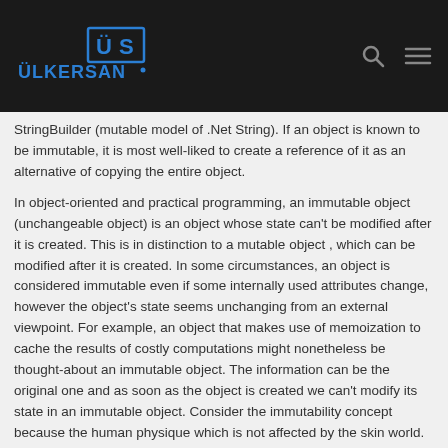[Figure (logo): Ülkersan company logo with stylized ÜS icon in blue on dark background header bar, with search and menu icons on the right]
StringBuilder (mutable model of .Net String). If an object is known to be immutable, it is most well-liked to create a reference of it as an alternative of copying the entire object.
In object-oriented and practical programming, an immutable object (unchangeable object) is an object whose state can't be modified after it is created. This is in distinction to a mutable object , which can be modified after it is created. In some circumstances, an object is considered immutable even if some internally used attributes change, however the object's state seems unchanging from an external viewpoint. For example, an object that makes use of memoization to cache the results of costly computations might nonetheless be thought-about an immutable object. The information can be the original one and as soon as the object is created we can't modify its state in an immutable object. Consider the immutability concept because the human physique which is not affected by the skin world.
Iterating Over Arrays And Lists
A operate that should replace the state can accomplish that by